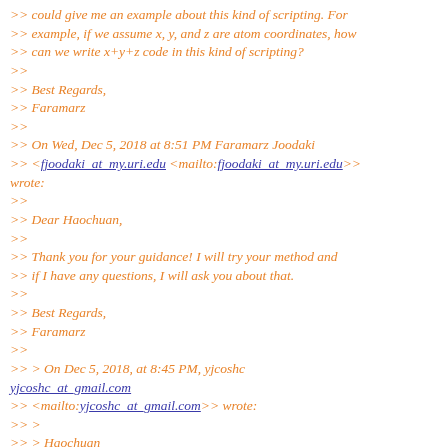>> could give me an example about this kind of scripting. For
>> example, if we assume x, y, and z are atom coordinates, how
>> can we write x+y+z code in this kind of scripting?
>>
>> Best Regards,
>> Faramarz
>>
>> On Wed, Dec 5, 2018 at 8:51 PM Faramarz Joodaki
>> <fjoodaki_at_my.uri.edu <mailto:fjoodaki_at_my.uri.edu>> wrote:
>>
>> Dear Haochuan,
>>
>> Thank you for your guidance! I will try your method and
>> if I have any questions, I will ask you about that.
>>
>> Best Regards,
>> Faramarz
>>
>> > On Dec 5, 2018, at 8:45 PM, yjcoshc
<yjcoshc_at_gmail.com
>> <mailto:yjcoshc_at_gmail.com>> wrote:
>> >
>> > Haochuan
>>